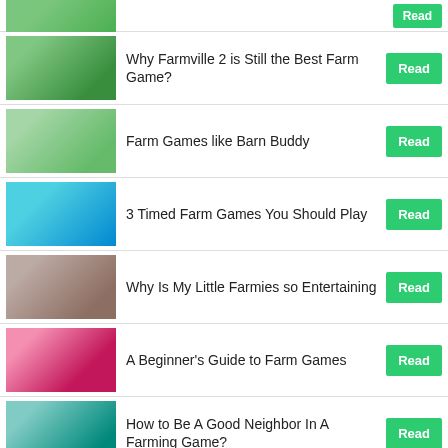(partial top item - eco farm)
Why Farmville 2 is Still the Best Farm Game?
Farm Games like Barn Buddy
3 Timed Farm Games You Should Play
Why Is My Little Farmies so Entertaining
A Beginner's Guide to Farm Games
How to Be A Good Neighbor In A Farming Game?
What We Love About Farm Games